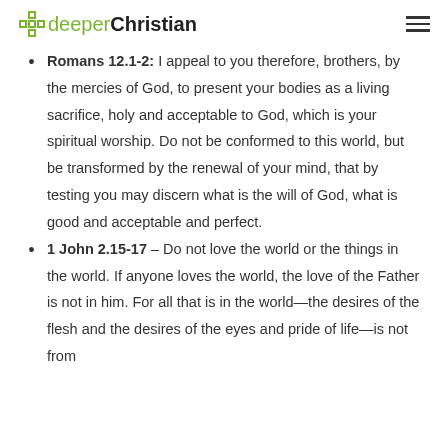deeperChristian
Romans 12.1-2: I appeal to you therefore, brothers, by the mercies of God, to present your bodies as a living sacrifice, holy and acceptable to God, which is your spiritual worship. Do not be conformed to this world, but be transformed by the renewal of your mind, that by testing you may discern what is the will of God, what is good and acceptable and perfect.
1 John 2.15-17 – Do not love the world or the things in the world. If anyone loves the world, the love of the Father is not in him. For all that is in the world—the desires of the flesh and the desires of the eyes and pride of life—is not from